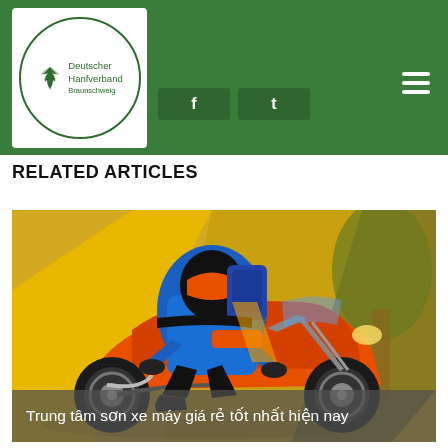[Figure (logo): Deutscher Hanfverband Braunschweig logo — green circle with cannabis leaf icon and text]
RELATED ARTICLES
[Figure (illustration): Cartoon illustration of a motorcyclist wearing blue jacket on an orange sport motorcycle, yellow and olive background]
Trung tâm sơn xe máy giá rẻ tốt nhất hiện nay